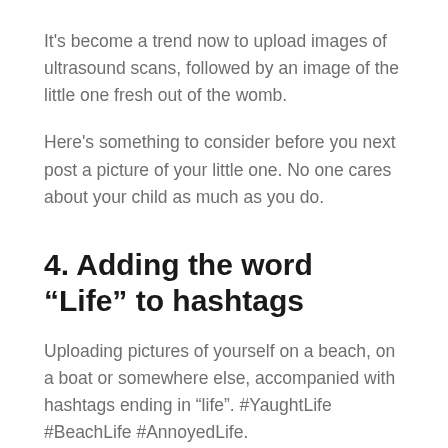It's become a trend now to upload images of ultrasound scans, followed by an image of the little one fresh out of the womb.
Here's something to consider before you next post a picture of your little one. No one cares about your child as much as you do.
4. Adding the word “Life” to hashtags
Uploading pictures of yourself on a beach, on a boat or somewhere else, accompanied with hashtags ending in “life”. #YaughtLife #BeachLife #AnnoyedLife.